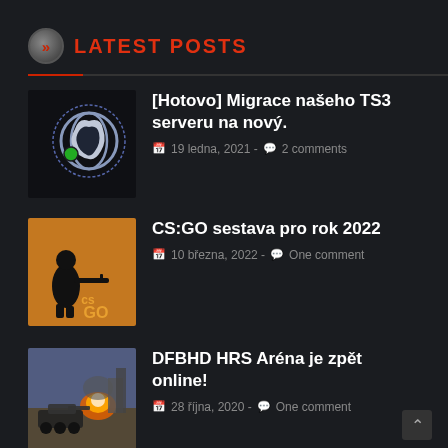LATEST POSTS
[Hotovo] Migrace našeho TS3 serveru na nový.
19 ledna, 2021 - 2 comments
CS:GO sestava pro rok 2022
10 března, 2022 - One comment
DFBHD HRS Aréna je zpět online!
28 října, 2020 - One comment